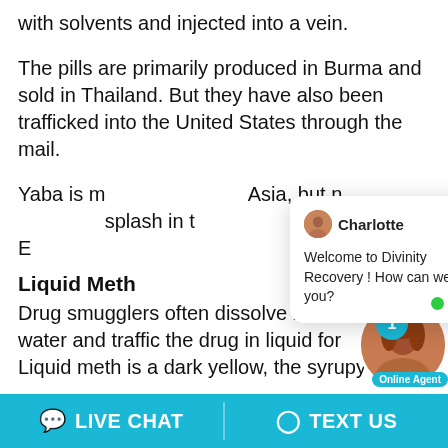with solvents and injected into a vein.
The pills are primarily produced in Burma and sold in Thailand. But they have also been trafficked into the United States through the mail.
Yaba is m… Asia, but n… splash in t… the Drug E…
[Figure (screenshot): Live chat popup from Charlotte at Divinity Recovery saying 'Welcome to Divinity Recovery ! How can we help you?']
Liquid Meth
Drug smugglers often dissolve meth in water and traffic the drug in liquid for… Liquid meth is a dark yellow, the syrupy…
[Figure (screenshot): Online Agent image with badge count 1 and green dot]
LIVE CHAT   TEXT US